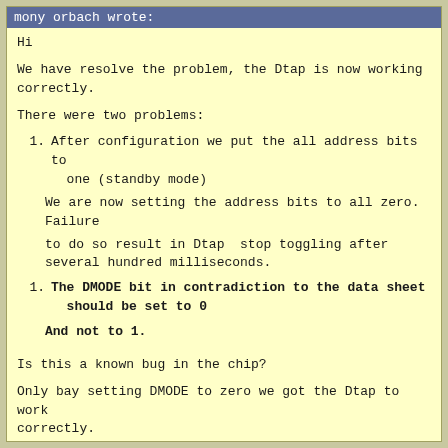mony orbach wrote:
Hi
We have resolve the problem, the Dtap is now working correctly.
There were two problems:
After configuration we put the all address bits to one (standby mode)

We are now setting the address bits to all zero. Failure

to do so result in Dtap  stop toggling after several hundred milliseconds.
The DMODE bit in contradiction to the data sheet should be set to 0

And not to 1.
Is this a known bug in the chip?
Only bay setting DMODE to zero we got the Dtap to work correctly.
The PLL locks after 1 milisec.
If we set it to one we get Dtap that stop toggling...